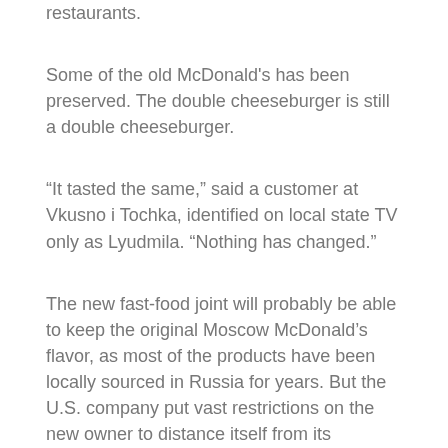restaurants.
Some of the old McDonald's has been preserved. The double cheeseburger is still a double cheeseburger.
“It tasted the same,” said a customer at Vkusno i Tochka, identified on local state TV only as Lyudmila. “Nothing has changed.”
The new fast-food joint will probably be able to keep the original Moscow McDonald’s flavor, as most of the products have been locally sourced in Russia for years. But the U.S. company put vast restrictions on the new owner to distance itself from its successor as much as possible.
Govor said the chain logo now depicts a burger and two individual fries in green and orange tones that some commentators compared to the logo of the Marriott hotel